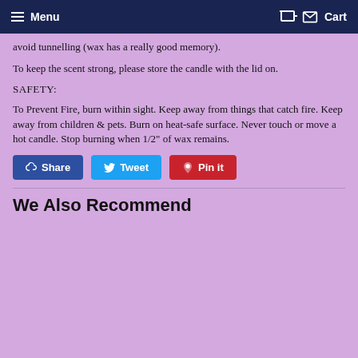Menu  Cart
avoid tunnelling (wax has a really good memory).
To keep the scent strong, please store the candle with the lid on.
SAFETY:
To Prevent Fire, burn within sight. Keep away from things that catch fire. Keep away from children & pets. Burn on heat-safe surface. Never touch or move a hot candle. Stop burning when 1/2" of wax remains.
[Figure (other): Social sharing buttons: Share (Facebook, blue), Tweet (Twitter, cyan/blue), Pin it (Pinterest, red)]
We Also Recommend